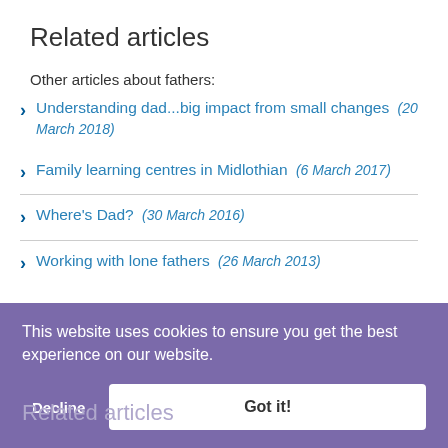Related articles
Other articles about fathers:
Understanding dad...big impact from small changes (20 March 2018)
Family learning centres in Midlothian (6 March 2017)
Where's Dad? (30 March 2016)
Working with lone fathers (26 March 2013)
This website uses cookies to ensure you get the best experience on our website.
Decline   Got it!